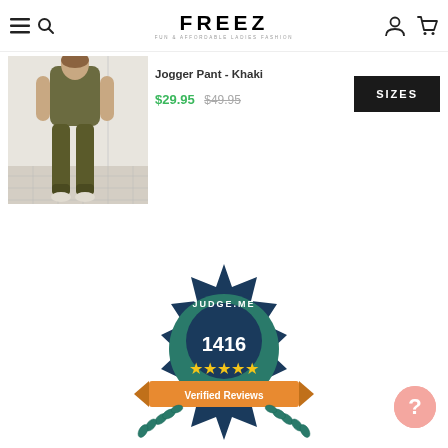FREEZ — FUN & AFFORDABLE LADIES FASHION
[Figure (photo): Product photo of a woman wearing khaki jogger pants, standing in a white room]
Jogger Pant - Khaki
$29.95 $49.95
[Figure (other): SIZES button — dark black rectangle]
[Figure (infographic): Judge.me badge showing 1416 Verified Reviews with 5 gold stars, teal and navy badge design with laurel wreath]
[Figure (other): Pink circular help/question mark button]